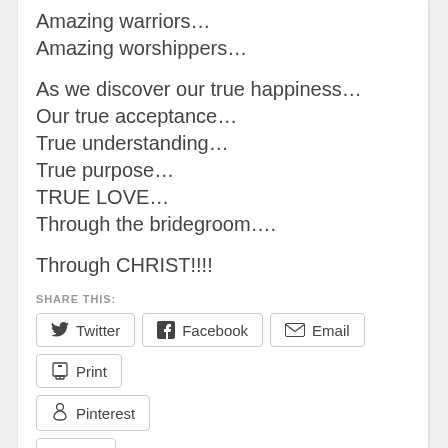Amazing warriors…
Amazing worshippers…
As we discover our true happiness…
Our true acceptance…
True understanding…
True purpose…
TRUE LOVE…
Through the bridegroom….
Through CHRIST!!!!
SHARE THIS:
Twitter | Facebook | Email | Print | Pinterest | Like
Be the first to like this.